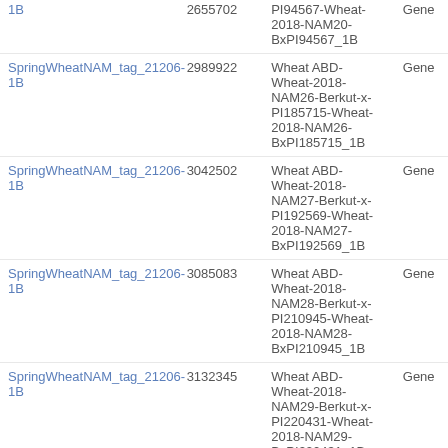| Tag | Position | Trait/Chromosome | Type |
| --- | --- | --- | --- |
| 1B | 2655702 | PI94567-Wheat-2018-NAM20-BxPI94567_1B | Gene |
| SpringWheatNAM_tag_21206-1B | 2989922 | Wheat ABD-Wheat-2018-NAM26-Berkut-x-PI185715-Wheat-2018-NAM26-BxPI185715_1B | Gene |
| SpringWheatNAM_tag_21206-1B | 3042502 | Wheat ABD-Wheat-2018-NAM27-Berkut-x-PI192569-Wheat-2018-NAM27-BxPI192569_1B | Gene |
| SpringWheatNAM_tag_21206-1B | 3085083 | Wheat ABD-Wheat-2018-NAM28-Berkut-x-PI210945-Wheat-2018-NAM28-BxPI210945_1B | Gene |
| SpringWheatNAM_tag_21206-1B | 3132345 | Wheat ABD-Wheat-2018-NAM29-Berkut-x-PI220431-Wheat-2018-NAM29-BxPI220431_1B | Gene |